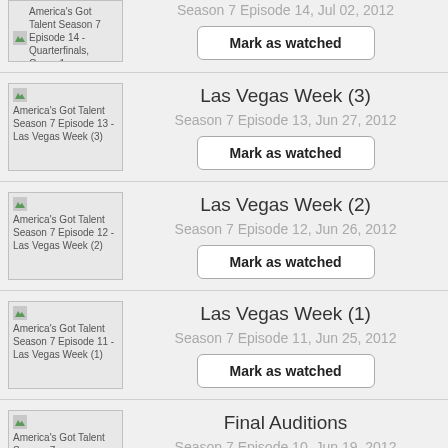[Figure (screenshot): Partial episode thumbnail for America's Got Talent Season 7 Episode 14 - Quarterfinals, Group 1]
Season 7 Episode 14, Jul 02, 2012
Mark as watched
[Figure (screenshot): Episode thumbnail for America's Got Talent Season 7 Episode 13 - Las Vegas Week (3)]
Las Vegas Week (3)
Season 7 Episode 13, Jun 27, 2012
Mark as watched
[Figure (screenshot): Episode thumbnail for America's Got Talent Season 7 Episode 12 - Las Vegas Week (2)]
Las Vegas Week (2)
Season 7 Episode 12, Jun 26, 2012
Mark as watched
[Figure (screenshot): Episode thumbnail for America's Got Talent Season 7 Episode 11 - Las Vegas Week (1)]
Las Vegas Week (1)
Season 7 Episode 11, Jun 25, 2012
Mark as watched
[Figure (screenshot): Partial episode thumbnail for America's Got Talent Season 7 - Final Auditions]
Final Auditions
Season 7 Episode 10, Jun 19, 2012